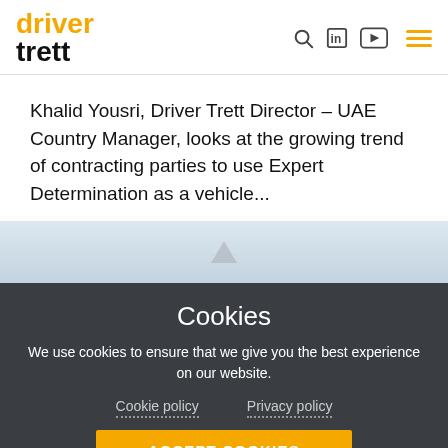driver trett
Khalid Yousri, Driver Trett Director – UAE Country Manager, looks at the growing trend of contracting parties to use Expert Determination as a vehicle...
[Figure (photo): Light blue sky/background image strip with small chevron/arrow graphic]
Cookies
We use cookies to ensure that we give you the best experience on our website.
Cookie policy   Privacy policy
ACCEPT COOKIES